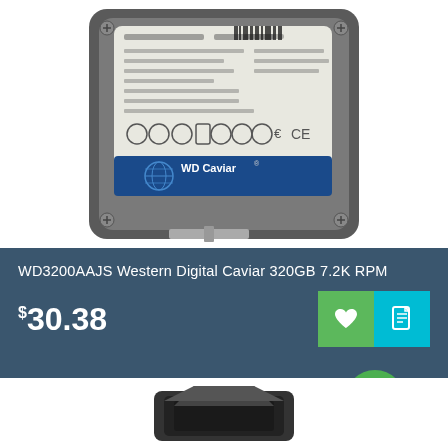[Figure (photo): WD Caviar 3.5 inch hard disk drive, top view showing label with specifications and WD logo on blue strip]
WD3200AAJS Western Digital Caviar 320GB 7.2K RPM
$30.38
[Figure (photo): Partial view of another hard drive at the bottom of the page]